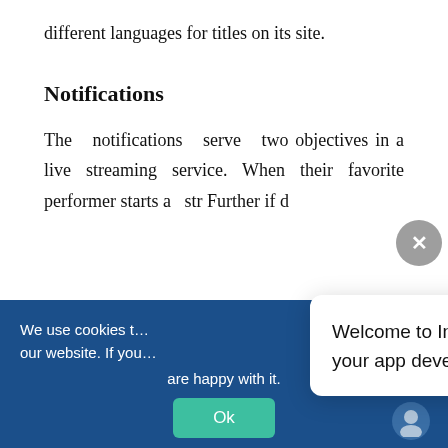different languages for titles on its site.
Notifications
The notifications serve two objectives in a live streaming service. When their favorite performer starts a stre... Further... if d...
[Figure (screenshot): Gray rounded close/X button overlay on the right side of the page]
[Figure (screenshot): Chat tooltip bubble reading: Welcome to IndaPoint Technologies, your app development partner.]
We use cookies t... our website. If you... are happy with it.
[Figure (screenshot): Cookie consent banner with Ok button and close X, and chat avatar icon]